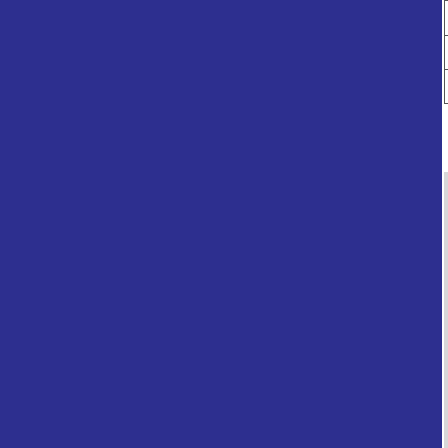| for Girls D... | 125 Years | 50 Years | 25 Years |
| --- | --- | --- | --- |
|  | 1,090 | 0 |  |
[Figure (other): Gray placeholder area, partially visible, likely a chart or image region]
The table below indicates the number of times the name was given to baby girls and baby boys each year. Emmer last appeared in the top tho... last year shown on the table. A bla...